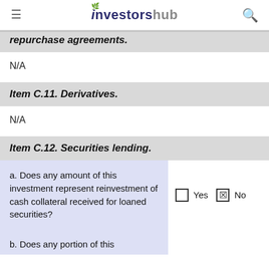investorshub
repurchase agreements.
N/A
Item C.11. Derivatives.
N/A
Item C.12. Securities lending.
| Question | Answer |
| --- | --- |
| a. Does any amount of this investment represent reinvestment of cash collateral received for loaned securities? | Yes [ ] No [X] |
| b. Does any portion of this |  |